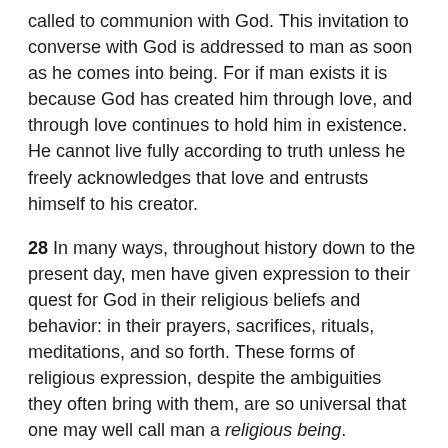called to communion with God. This invitation to converse with God is addressed to man as soon as he comes into being. For if man exists it is because God has created him through love, and through love continues to hold him in existence. He cannot live fully according to truth unless he freely acknowledges that love and entrusts himself to his creator.
28 In many ways, throughout history down to the present day, men have given expression to their quest for God in their religious beliefs and behavior: in their prayers, sacrifices, rituals, meditations, and so forth. These forms of religious expression, despite the ambiguities they often bring with them, are so universal that one may well call man a religious being.
From one ancestor [God] made all nations to inhabit the whole earth, and he allotted the times of their existence and the boundaries of the places where they would live, so that they would search for God and perhaps grope